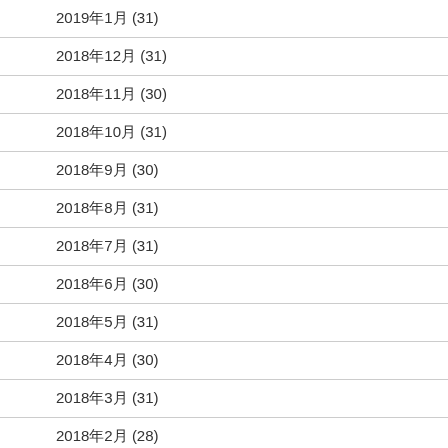2019年1月 (31)
2018年12月 (31)
2018年11月 (30)
2018年10月 (31)
2018年9月 (30)
2018年8月 (31)
2018年7月 (31)
2018年6月 (30)
2018年5月 (31)
2018年4月 (30)
2018年3月 (31)
2018年2月 (28)
2018年1月 (31)